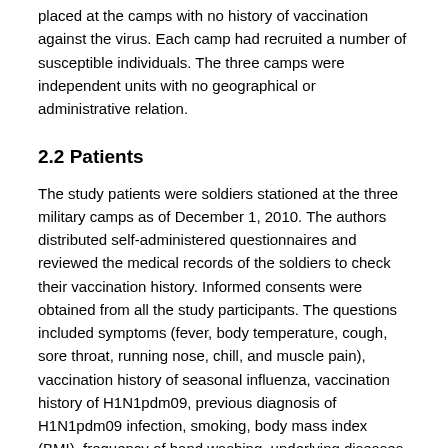placed at the camps with no history of vaccination against the virus. Each camp had recruited a number of susceptible individuals. The three camps were independent units with no geographical or administrative relation.
2.2 Patients
The study patients were soldiers stationed at the three military camps as of December 1, 2010. The authors distributed self-administered questionnaires and reviewed the medical records of the soldiers to check their vaccination history. Informed consents were obtained from all the study participants. The questions included symptoms (fever, body temperature, cough, sore throat, running nose, chill, and muscle pain), vaccination history of seasonal influenza, vaccination history of H1N1pdm09, previous diagnosis of H1N1pdm09 infection, smoking, body mass index (BMI), frequency of hand washing, underlying diseases, and sociodemographic factors.